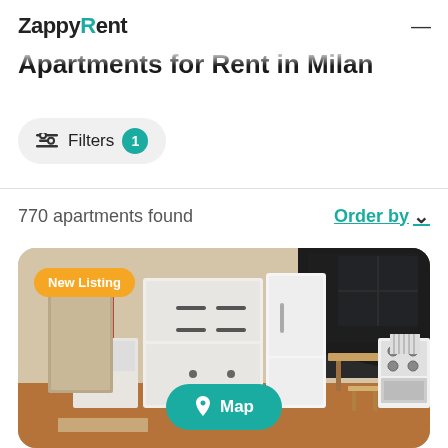ZappyRent
Apartments for Rent in Milan
Filters 1
770 apartments found
Order by
[Figure (photo): Interior photo of a small apartment room under a staircase, showing a white cabinet/dresser, a white refrigerator, a small wooden desk and stool, a white stove/oven, and a window. The floor is brown/orange. There is a 'New Listing' badge in the top-left and a 'Map' button overlay at the bottom center.]